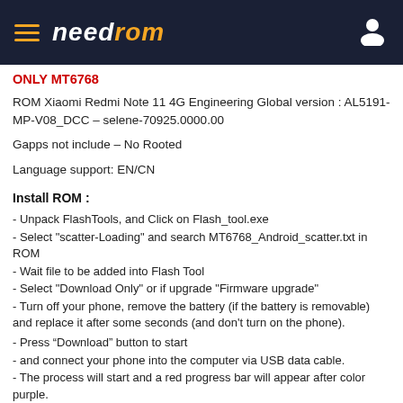needrom
ONLY MT6768
ROM Xiaomi Redmi Note 11 4G Engineering Global version : AL5191-MP-V08_DCC – selene-70925.0000.00
Gapps not include – No Rooted
Language support: EN/CN
Install ROM :
- Unpack FlashTools, and Click on Flash_tool.exe
- Select "scatter-Loading" and search MT6768_Android_scatter.txt in ROM
- Wait file to be added into Flash Tool
- Select "Download Only" or if upgrade "Firmware upgrade"
- Turn off your phone, remove the battery (if the battery is removable) and replace it after some seconds (and don't turn on the phone).
- Press “Download” button to start
- and connect your phone into the computer via USB data cable.
- The process will start and a red progress bar will appear after color purple.